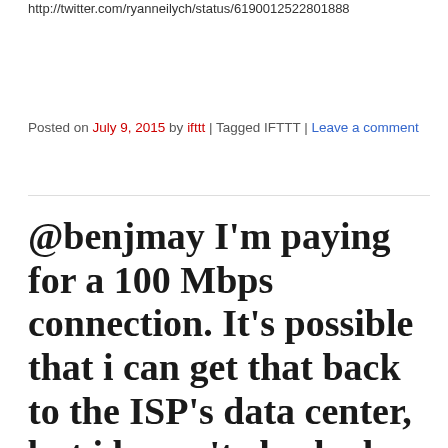http://twitter.com/ryanneilych/status/619001252280188
Posted on July 9, 2015 by ifttt | Tagged IFTTT | Leave a comment
@benjmay I'm paying for a 100 Mbps connection. It's possible that i can get that back to the ISP's data center, but i haven't checked.